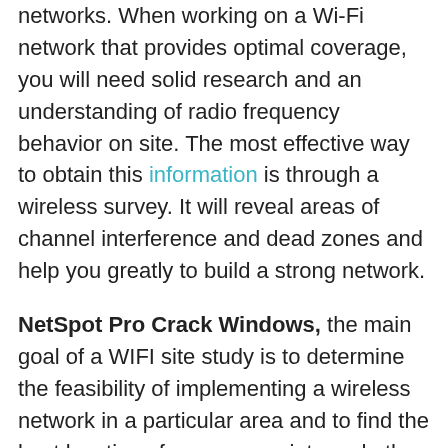networks. When working on a Wi-Fi network that provides optimal coverage, you will need solid research and an understanding of radio frequency behavior on site. The most effective way to obtain this information is through a wireless survey. It will reveal areas of channel interference and dead zones and help you greatly to build a strong network.
NetSpot Pro Crack Windows, the main goal of a WIFI site study is to determine the feasibility of implementing a wireless network in a particular area and to find the best locations for access points and other equipment, such as cables and antennas. With a site survey, you will know what kind of equipment to get and where to install it.
A wireless site survey is also an important part of